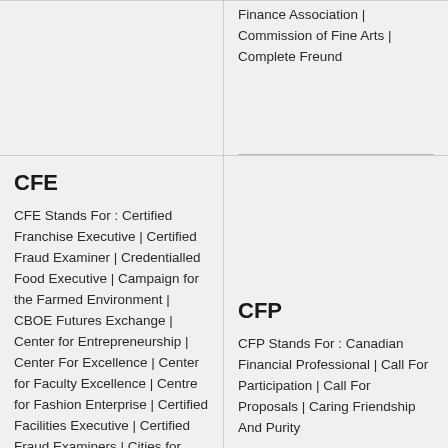From Away | Commercial Finance Association | Commission of Fine Arts | Complete Freund
CFE
CFE Stands For : Certified Franchise Executive | Certified Fraud Examiner | Credentialled Food Executive | Campaign for the Farmed Environment | CBOE Futures Exchange | Center for Entrepreneurship | Center For Excellence | Center for Faculty Excellence | Centre for Fashion Enterprise | Certified Facilities Executive | Certified Fraud Examiners | Cities for Financial Empowerment | Code for Front Ends | Cold Field Emission | College of Further Education | Comision Federal de
CFP
CFP Stands For : Canadian Financial Professional | Call For Participation | Call For Proposals | Caring Friendship And Purity